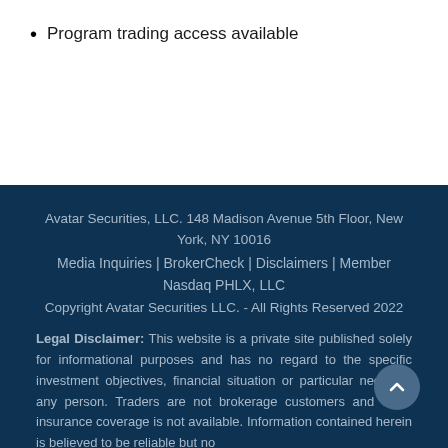Program trading access available
Avatar Securities, LLC. 148 Madison Avenue 5th Floor, New York, NY 10016
Media Inquiries | BrokerCheck | Disclaimers | Member Nasdaq PHLX, LLC
Copyright Avatar Securities LLC. - All Rights Reserved 2022
Legal Disclaimer: This website is a private site published solely for informational purposes and has no regard to the specific investment objectives, financial situation or particular needs of any person. Traders are not brokerage customers and SIPC insurance coverage is not available. Information contained herein is believed to be reliable but no